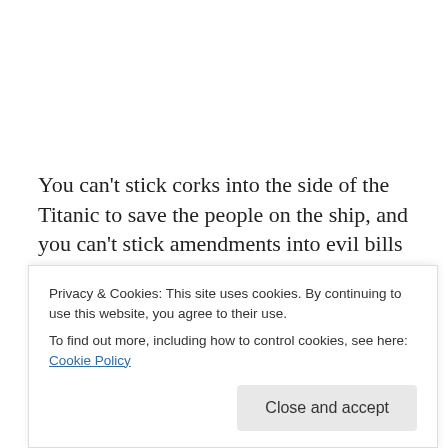You can't stick corks into the side of the Titanic to save the people on the ship, and you can't stick amendments into evil bills and then in good conscience vote yes on them. We are building and voting for our own children's cages in the belly of a sinking ship.
Read the current ed reform bill amendments here; some are dancing about the Zeldin amendment, because it
Privacy & Cookies: This site uses cookies. By continuing to use this website, you agree to their use. To find out more, including how to control cookies, see here: Cookie Policy
Close and accept